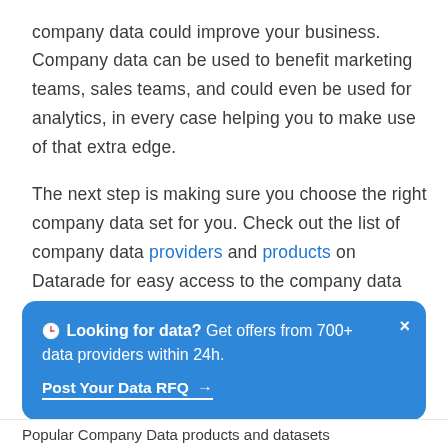company data could improve your business. Company data can be used to benefit marketing teams, sales teams, and could even be used for analytics, in every case helping you to make use of that extra edge.
The next step is making sure you choose the right company data set for you. Check out the list of company data providers and products on Datarade for easy access to the company data you're looking for.
🕐 Looking for data? Get offers from 700+ data providers within 24h. Post Your Data RFQ →
Popular Company Data products and datasets